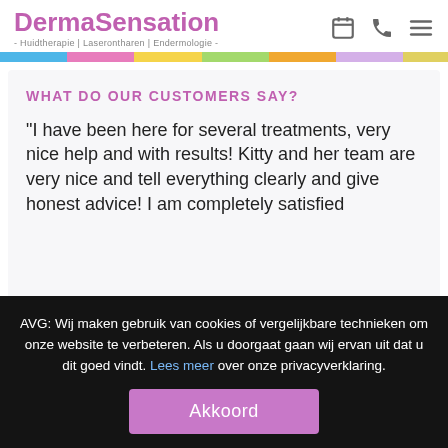DermaSensation - Huidtherapie | Laserontharen | Endermologie -
WHAT DO OUR CUSTOMERS SAY?
“I have been here for several treatments, very nice help and with results! Kitty and her team are very nice and tell everything clearly and give honest advice! I am completely satisfied
AVG: Wij maken gebruik van cookies of vergelijkbare technieken om onze website te verbeteren. Als u doorgaat gaan wij ervan uit dat u dit goed vindt. Lees meer over onze privacyverklaring.